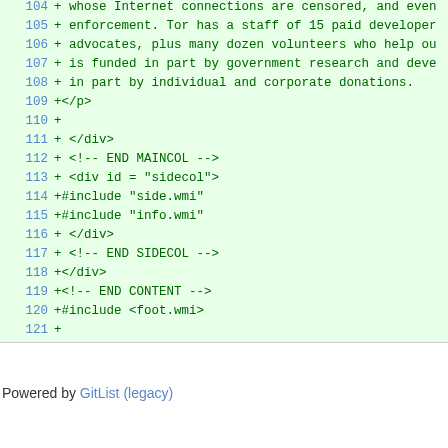104 + whose Internet connections are censored, and even
105 + enforcement. Tor has a staff of 15 paid developer
106 + advocates, plus many dozen volunteers who help ou
107 + is funded in part by government research and deve
108 + in part by individual and corporate donations.
109 +</p>
110 +
111 +  </div>
112 +  <!-- END MAINCOL -->
113 +  <div id = "sidecol">
114 +#include "side.wmi"
115 +#include "info.wmi"
116 +  </div>
117 +  <!-- END SIDECOL -->
118 +</div>
119 +<!-- END CONTENT -->
120 +#include <foot.wmi>
121 +
Powered by GitList (legacy)